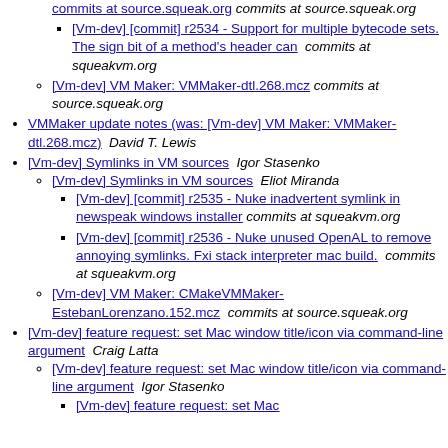[truncated link] commits at source.squeak.org
[Vm-dev] [commit] r2534 - Support for multiple bytecode sets. The sign bit of a method's header can  commits at squeakvm.org
[Vm-dev] VM Maker: VMMaker-dtl.268.mcz  commits at source.squeak.org
VMMaker update notes (was: [Vm-dev] VM Maker: VMMaker-dtl.268.mcz)  David T. Lewis
[Vm-dev] Symlinks in VM sources  Igor Stasenko
[Vm-dev] Symlinks in VM sources  Eliot Miranda
[Vm-dev] [commit] r2535 - Nuke inadvertent symlink in newspeak windows installer  commits at squeakvm.org
[Vm-dev] [commit] r2536 - Nuke unused OpenAL to remove annoying symlinks. Fxi stack interpreter mac build.  commits at squeakvm.org
[Vm-dev] VM Maker: CMakeVMMaker-EstebanLorenzano.152.mcz  commits at source.squeak.org
[Vm-dev] feature request: set Mac window title/icon via command-line argument  Craig Latta
[Vm-dev] feature request: set Mac window title/icon via command-line argument  Igor Stasenko
[Vm-dev] feature request: set Mac